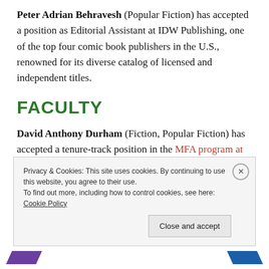Peter Adrian Behravesh (Popular Fiction) has accepted a position as Editorial Assistant at IDW Publishing, one of the top four comic book publishers in the U.S., renowned for its diverse catalog of licensed and independent titles.
FACULTY
David Anthony Durham (Fiction, Popular Fiction) has accepted a tenure-track position in the MFA program at the University of Nevada, Reno. He'll be moving out there right after the summer residency. Yes, this will be the
Privacy & Cookies: This site uses cookies. By continuing to use this website, you agree to their use.
To find out more, including how to control cookies, see here: Cookie Policy